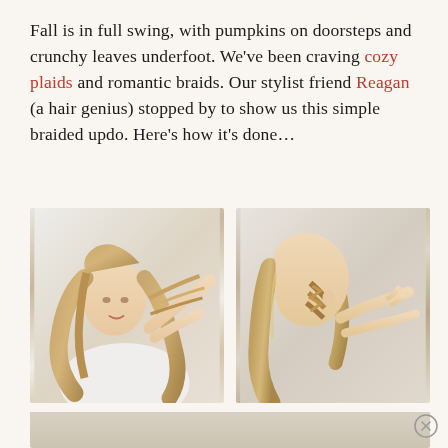Fall is in full swing, with pumpkins on doorsteps and crunchy leaves underfoot. We've been craving cozy plaids and romantic braids. Our stylist friend Reagan (a hair genius) stopped by to show us this simple braided updo. Here's how it's done…
[Figure (photo): Two side-by-side photos of a blonde woman demonstrating a braided updo hairstyle. Left photo shows her holding separated hair strands. Right photo shows her braiding the side section of her hair.]